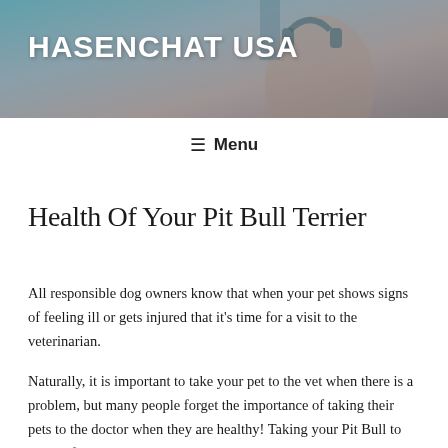[Figure (photo): Website header banner with a woman wearing headphones, teal/blue tones, partially visible face]
HASENCHAT USA
☰ Menu
Health Of Your Pit Bull Terrier
All responsible dog owners know that when your pet shows signs of feeling ill or gets injured that it's time for a visit to the veterinarian.
Naturally, it is important to take your pet to the vet when there is a problem, but many people forget the importance of taking their pets to the doctor when they are healthy! Taking your Pit Bull to the vet for routine well check-ups and vaccinations can prevent many serious medical conditions, and treat others early on before they